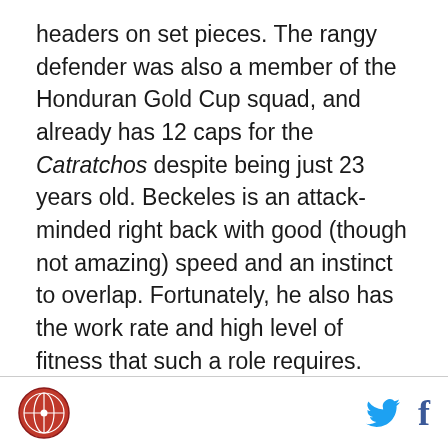headers on set pieces. The rangy defender was also a member of the Honduran Gold Cup squad, and already has 12 caps for the Catratchos despite being just 23 years old. Beckeles is an attack-minded right back with good (though not amazing) speed and an instinct to overlap. Fortunately, he also has the work rate and high level of fitness that such a role requires. While not necessarily as skilled at crossing as Jan Gunnar Solli, Beckeles could be effective in the same way that Sean Franklin or Chance Myers are (i.e. by putting opponents on their heels and running them into the ground). In a pinch, Beckeles might also be able to play as a right midfielder or as a center back, though that is admittedly speculation on my part based on
[logo] [twitter] [facebook]